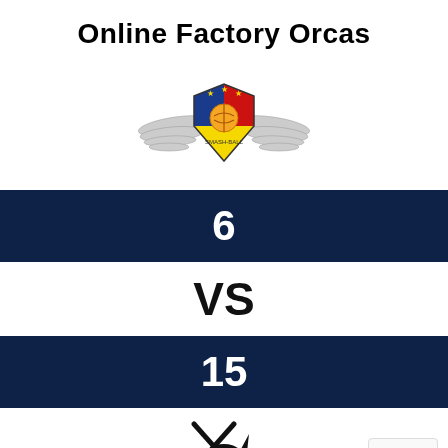Online Factory Orcas
[Figure (logo): Smash-ball / pickleball league logo with wings and shield shape, containing yellow, blue and red sections with a ball in the center]
6
VS
15
[Figure (logo): Online Factory Orcas logo showing a cartoon orca/shark with crossed paddles, black and white, with red text 'ONLINE FACTORY' beneath]